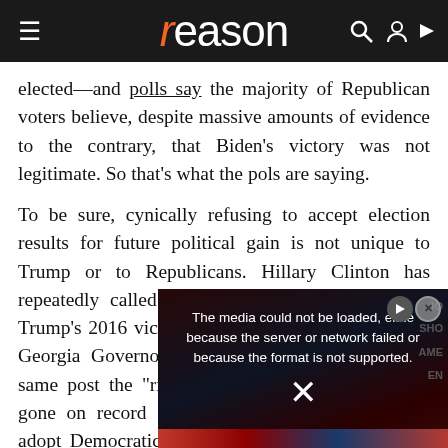reason
elected—and polls say the majority of Republican voters believe, despite massive amounts of evidence to the contrary, that Biden's victory was not legitimate. So that's what the pols are saying.
To be sure, cynically refusing to accept election results for future political gain is not unique to Trump or to Republicans. Hillary Clinton has repeatedly called into question the legitimacy of Trump's 2016 victory. Stacey Abrams, who lo[st the Georgia Governor's 2018 election and is t]he same post t[he] "right, true or p[roper"...] Biden has gone [on record saying] contests should [not...] not adopt Demo[cratic...] the White House later walked back that claim.
[Figure (screenshot): Video player overlay showing error message: 'The media could not be loaded, either because the server or network failed or because the format is not supported.' with an X close button and play button icon. Behind the overlay is a protest scene with people holding signs including one reading 'AMERICAN!']